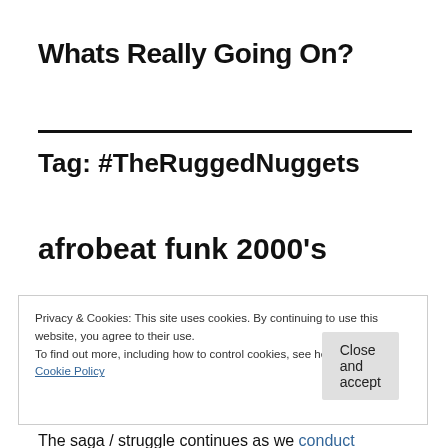Whats Really Going On?
Tag: #TheRuggedNuggets
afrobeat funk 2000's
Privacy & Cookies: This site uses cookies. By continuing to use this website, you agree to their use.
To find out more, including how to control cookies, see here:
Cookie Policy
Close and accept
The saga / struggle continues as we conduct